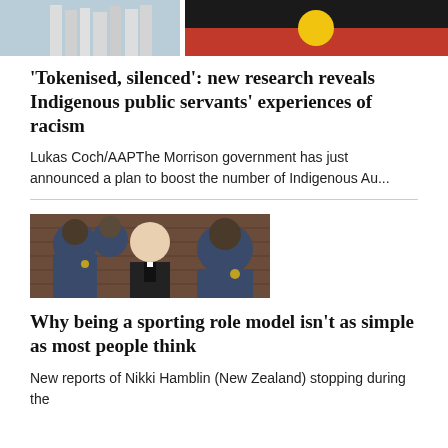[Figure (photo): Top portion of a photo showing an Aboriginal flag and building, partially cropped at top of page]
'Tokenised, silenced': new research reveals Indigenous public servants' experiences of racism
Lukas Coch/AAPThe Morrison government has just announced a plan to boost the number of Indigenous Au...
[Figure (photo): Oscar Pistorius surrounded by police officers/security guards outside a courthouse]
Why being a sporting role model isn't as simple as most people think
New reports of Nikki Hamblin (New Zealand) stopping during the